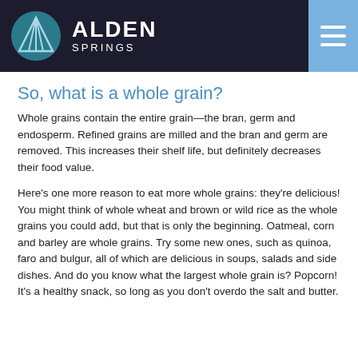ALDEN SPRINGS
So, what is a whole grain?
Whole grains contain the entire grain—the bran, germ and endosperm. Refined grains are milled and the bran and germ are removed. This increases their shelf life, but definitely decreases their food value.
Here's one more reason to eat more whole grains: they're delicious! You might think of whole wheat and brown or wild rice as the whole grains you could add, but that is only the beginning. Oatmeal, corn and barley are whole grains. Try some new ones, such as quinoa, faro and bulgur, all of which are delicious in soups, salads and side dishes. And do you know what the largest whole grain is? Popcorn! It's a healthy snack, so long as you don't overdo the salt and butter.